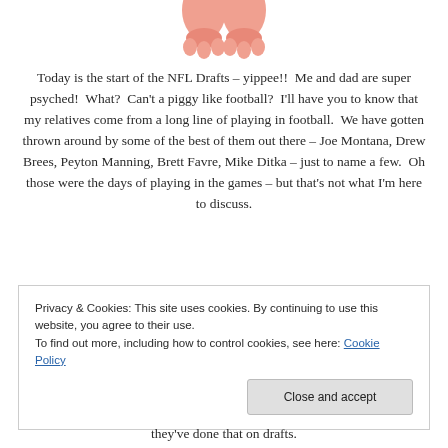[Figure (illustration): Partial view of a cartoon pig illustration at the top of the page]
Today is the start of the NFL Drafts – yippee!!  Me and dad are super psyched!  What?  Can't a piggy like football?  I'll have you to know that my relatives come from a long line of playing in football.  We have gotten thrown around by some of the best of them out there – Joe Montana, Drew Brees, Peyton Manning, Brett Favre, Mike Ditka – just to name a few.  Oh those were the days of playing in the games – but that's not what I'm here to discuss.
Privacy & Cookies: This site uses cookies. By continuing to use this website, you agree to their use.
To find out more, including how to control cookies, see here: Cookie Policy
they've done that on drafts.